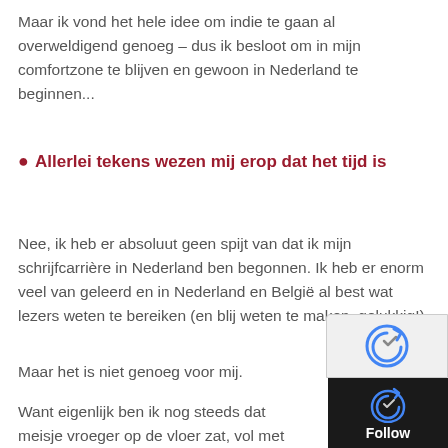Maar ik vond het hele idee om indie te gaan al overweldigend genoeg – dus ik besloot om in mijn comfortzone te blijven en gewoon in Nederland te beginnen...
• Allerlei tekens wezen mij erop dat het tijd is
Nee, ik heb er absoluut geen spijt van dat ik mijn schrijfcarrière in Nederland ben begonnen. Ik heb er enorm veel van geleerd en in Nederland en België al best wat lezers weten te bereiken (en blij weten te maken, gelukkig!).
Maar het is niet genoeg voor mij.
Want eigenlijk ben ik nog steeds dat meisje vroeger op de vloer zat, vol met wilde drome